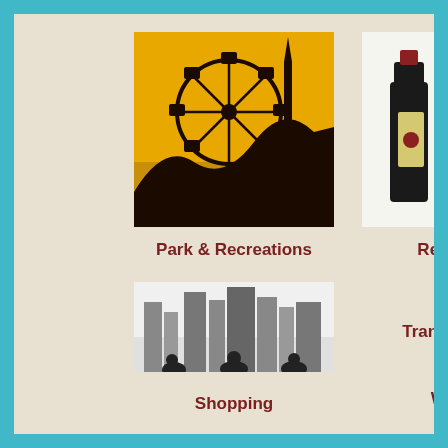[Figure (illustration): Amusement park with Ferris wheel silhouette on orange/yellow background]
Park & Recreations
[Figure (illustration): Three wine/liquor bottles standing together on white background]
Restaurants
[Figure (illustration): City skyline silhouette with people in foreground, grayscale photo]
Transportations
Wedding
Shopping
Friends and Sponsors